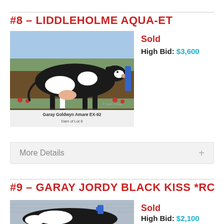#8 – LIDDLEHOLME AQUA-ET
[Figure (photo): Black and white Holstein cow standing in a field, shown in profile. Caption reads: Garay Goldwyn Amare EX-92, Dam of Lot 8]
Sold
High Bid: $3,600
More Details +
#9 – GARAY JORDY BLACK KISS *RC
[Figure (photo): Black and white Holstein cow photographed indoors in a barn setting, partial view showing back and hindquarters.]
Sold
High Bid: $2,100